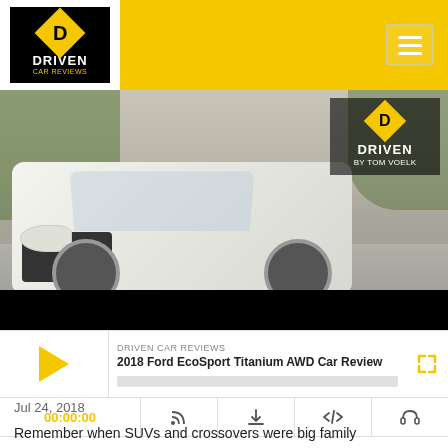DRIVEN CAR REVIEWS — Driven by Tom Voelk
[Figure (photo): White Ford EcoSport Titanium AWD SUV parked on a driveway with green trees in background. Driven by Tom Voelk logo overlay in top right.]
DRIVEN CAR REVIEWS
2018 Ford EcoSport Titanium AWD Car Review
00:00:00
Jul 24, 2018
Remember when SUVs and crossovers were big family